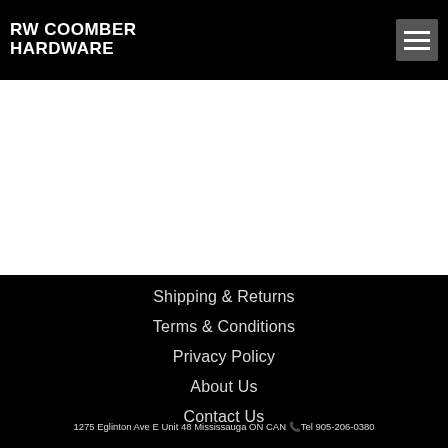RW COOMBER HARDWARE
Shipping & Returns
Terms & Conditions
Privacy Policy
About Us
Contact Us
1275 Eglinton Ave E Unit 48 Mississauga ON CAN 🕾 Tel 905-206-0380